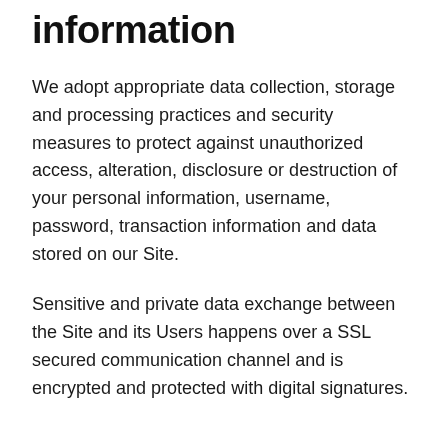information
We adopt appropriate data collection, storage and processing practices and security measures to protect against unauthorized access, alteration, disclosure or destruction of your personal information, username, password, transaction information and data stored on our Site.
Sensitive and private data exchange between the Site and its Users happens over a SSL secured communication channel and is encrypted and protected with digital signatures.